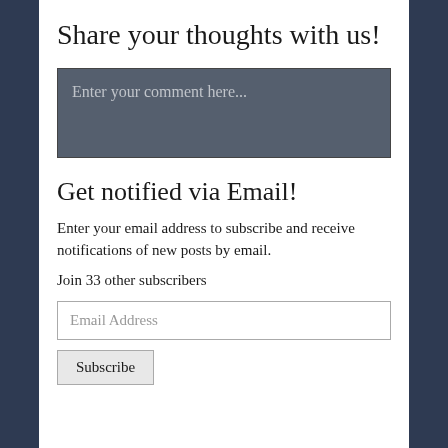Share your thoughts with us!
Enter your comment here...
Get notified via Email!
Enter your email address to subscribe and receive notifications of new posts by email.
Join 33 other subscribers
Email Address
Subscribe